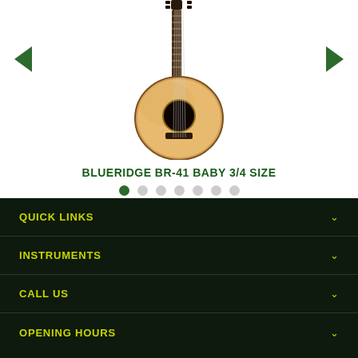[Figure (photo): Acoustic guitar - Blueridge BR-41 Baby 3/4 size guitar, natural wood finish with dark fretboard, shown at an angle]
BLUERIDGE BR-41 BABY 3/4 SIZE
QUICK LINKS
INSTRUMENTS
CALL US
OPENING HOURS